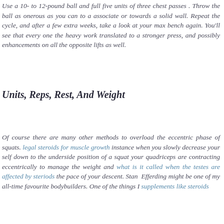Use a 10- to 12-pound ball and full five units of three chest passes . Throw the ball as onerous as you can to a associate or towards a solid wall. Repeat the cycle, and after a few extra weeks, take a look at your max bench again. You'll see that every one the heavy work translated to a stronger press, and possibly enhancements on all the opposite lifts as well.
Units, Reps, Rest, And Weight
Of course there are many other methods to overload the eccentric phase of squats. legal steroids for muscle growth instance when you slowly decrease your self down to the underside position of a squat your quadriceps are contracting eccentrically to manage the weight and what is it called when the testes are affected by steriods the pace of your descent. Stan Efferding might be one of my all-time favourite bodybuilders. One of the things I supplements like steroids